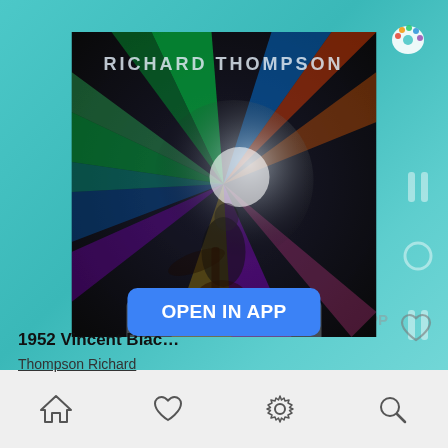[Figure (screenshot): Music app screenshot showing Richard Thompson Electric album art with colorful light streaks, guitarist silhouette, and text 'RICHARD THOMPSON' and 'ELECTRIC' on the album cover]
OPEN IN APP
1952 Vincent Blac…
Thompson Richard
[Figure (infographic): Bottom navigation bar with home, heart, settings/gear, and search icons]